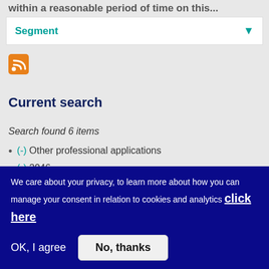within a reasonable period of time on this...
Segment
[Figure (other): RSS feed orange icon]
Current search
Search found 6 items
(-) Other professional applications
(-) 2046
(-) Grant
We care about your privacy, to learn more about how you can manage your consent in relation to cookies and analytics click here
OK, I agree
No, thanks